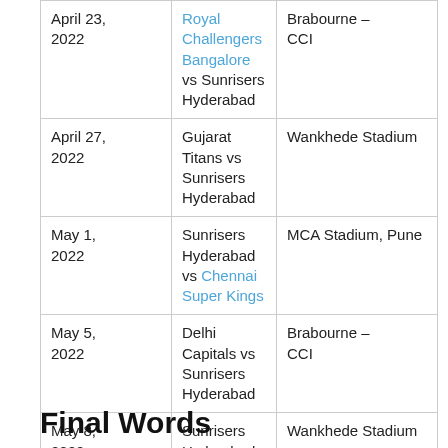| Date | Match | Venue |
| --- | --- | --- |
| April 23, 2022 | Royal Challengers Bangalore vs Sunrisers Hyderabad | Brabourne – CCI |
| April 27, 2022 | Gujarat Titans vs Sunrisers Hyderabad | Wankhede Stadium |
| May 1, 2022 | Sunrisers Hyderabad vs Chennai Super Kings | MCA Stadium, Pune |
| May 5, 2022 | Delhi Capitals vs Sunrisers Hyderabad | Brabourne – CCI |
| May 8, 2022 | Sunrisers Hyderabad vs Royal Challengers Bangalore | Wankhede Stadium |
| May 14, 2022 | Kolkata Knight Riders vs Sunrisers Hyderabad | MCA Stadium, Pune |
| May 17, 2022 | Mumbai Indians vs Sunrisers Hyderabad | Wankhede Stadium |
| May 22, 2022 | Sunrisers Hyderabad vs Punjab Kings | Wankhede Stadium |
Final Words